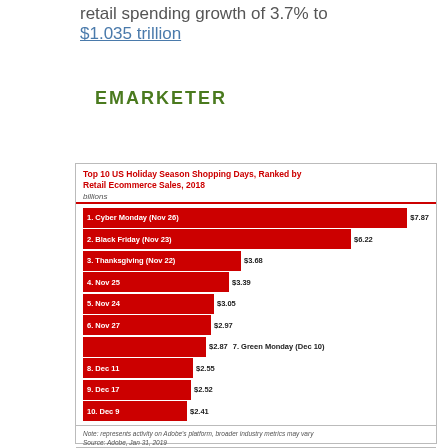retail spending growth of 3.7% to $1.035 trillion
[Figure (logo): eMarketer logo in dark green bold text]
[Figure (bar-chart): Top 10 US Holiday Season Shopping Days, Ranked by Retail Ecommerce Sales, 2018]
Note: represents activity on Adobe's platform, broader industry metrics may vary
Source: Adobe, Jan 31, 2019